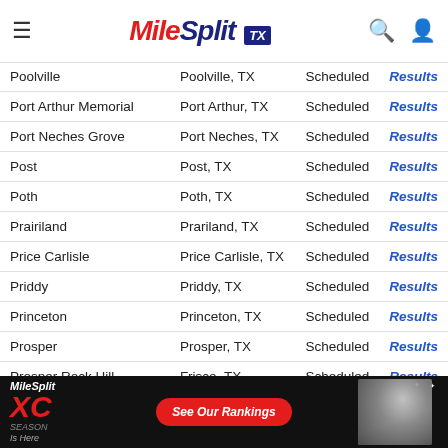MileSplit TX
| School | City | Status |  |
| --- | --- | --- | --- |
| Poolville | Poolville, TX | Scheduled | Results |
| Port Arthur Memorial | Port Arthur, TX | Scheduled | Results |
| Port Neches Grove | Port Neches, TX | Scheduled | Results |
| Post | Post, TX | Scheduled | Results |
| Poth | Poth, TX | Scheduled | Results |
| Prairiland | Prariland, TX | Scheduled | Results |
| Price Carlisle | Price Carlisle, TX | Scheduled | Results |
| Priddy | Priddy, TX | Scheduled | Results |
| Princeton | Princeton, TX | Scheduled | Results |
| Prosper | Prosper, TX | Scheduled | Results |
| Prosper Rock Hill | Frisco, TX | Scheduled | Results |
| Queen City | Queen City, TX | Scheduled | Results |
| Quitman | Quitman, TX | Scheduled | Results |
| Randolph | Universal City, TX | Scheduled | Results |
| Rankin | Rankin, TX | Scheduled | Results |
[Figure (infographic): MileSplit XC Season Is Here advertisement banner with See Our Rankings button and athlete photo]